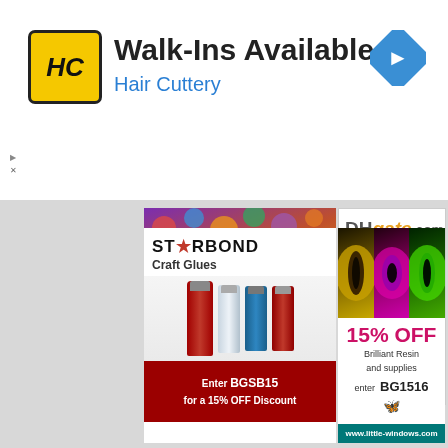[Figure (infographic): Hair Cuttery advertisement banner: yellow HC logo icon, 'Walk-Ins Available' headline, 'Hair Cuttery' subtitle in blue, blue diamond navigation arrow on right]
[Figure (infographic): Czech Beads advertisement: colorful beads background, orange banner text: EXCLUSIVE CZECH BEADS FLAT RATE SHIPPING $4.47 WORLDWIDE with cursor icon]
[Figure (infographic): DHgate.com advertisement: DH in gray, gate in orange, .com text, 'Wholesale Loose Beads' tagline, two silver charm beads]
[Figure (infographic): STARBOND Craft Glues advertisement: logo with star in red, craft glue bottles, red promo banner 'Enter BGSB15 for a 15% OFF Discount']
[Figure (infographic): Little Windows advertisement: three animal eye panels, '15% OFF' in pink, 'Brilliant Resin and supplies enter BG1516', teal URL bar 'www.little-windows.com']